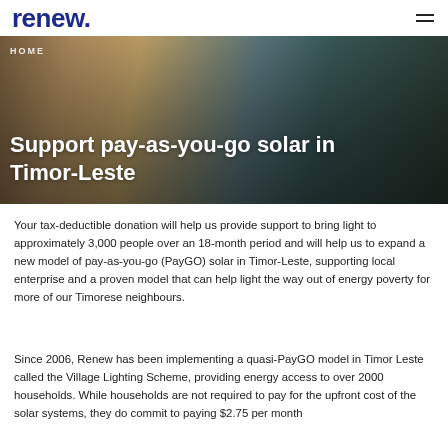renew.
[Figure (photo): Group of people examining a solar device indoors, with warm wooden background. A HOME breadcrumb label is visible in the top-left of the image.]
Support pay-as-you-go solar in Timor-Leste
Your tax-deductible donation will help us provide support to bring light to approximately 3,000 people over an 18-month period and will help us to expand a new model of pay-as-you-go (PayGO) solar in Timor-Leste, supporting local enterprise and a proven model that can help light the way out of energy poverty for more of our Timorese neighbours.
Since 2006, Renew has been implementing a quasi-PayGO model in Timor Leste called the Village Lighting Scheme, providing energy access to over 2000 households. While households are not required to pay for the upfront cost of the solar systems, they do commit to paying $2.75 per month